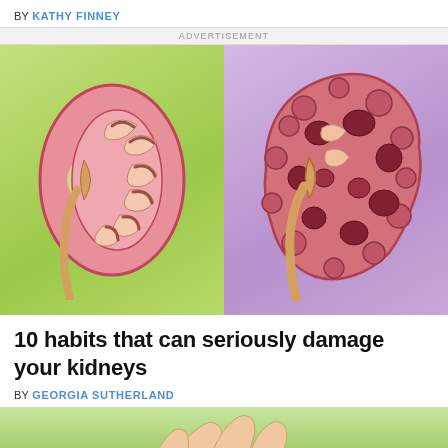BY KATHY FINNEY
ADVERTISEMENT
[Figure (illustration): Two kidney illustrations side by side: left shows a healthy kidney cross-section on a green background; right shows a damaged/diseased kidney with holes on a purple background.]
10 habits that can seriously damage your kidneys
BY GEORGIA SUTHERLAND
[Figure (photo): Partial bottom image cropped, showing hands on a green background, teaser for the article.]